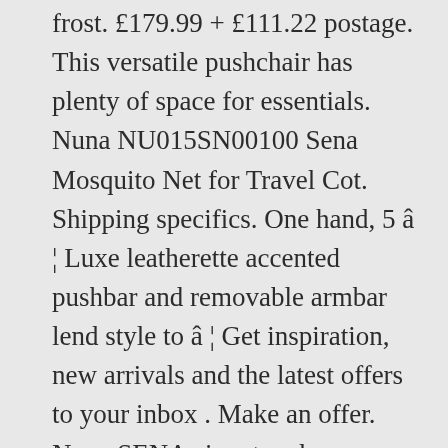frost. £179.99 + £111.22 postage. This versatile pushchair has plenty of space for essentials. Nuna NU015SN00100 Sena Mosquito Net for Travel Cot. Shipping specifics. One hand, 5 â¦ Luxe leatherette accented pushbar and removable armbar lend style to â¦ Get inspiration, new arrivals and the latest offers to your inbox . Make an offer. Nuna SENA aire at a glance: Transform any room into baby's room in seconds. Buy Mothercare Nuna Zaaz Bornseat, Cloud Online from Mothercare UAE in Dubai, Abu dhabi. For quick trips out, weekends away, and everything in betweenâthe MIXX is the one. Compare 2020 Nuna collection at the best specs and